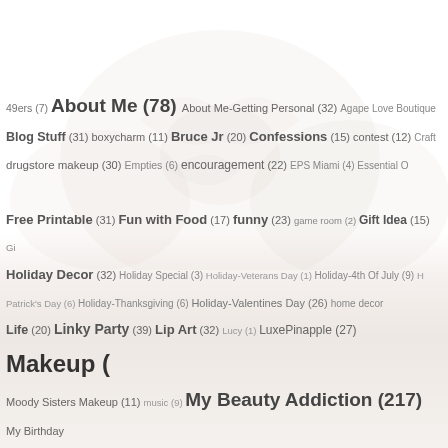[Figure (illustration): Faint decorative background image with soft circular/floral motifs in light pink/cream tones occupying the upper and middle portion of the page]
49ers (7) About Me (78) About Me-Getting Personal (32) Agape Love Boutique Blog Stuff (31) boxycharm (11) Bruce Jr (20) Confessions (15) contest (12) Craft drugstore makeup (30) Empties (6) encouragement (22) EPS Miami (4) Essential C Free Printable (31) Fun with Food (17) funny (23) game room (2) Gift Idea (15) Gi Holiday Decor (32) Holiday Special (3) Holiday-Veterans Day (1) Holiday-4th Of July (9) Patrick's Day (6) Holiday-Thanksgiving (6) Holiday-Valentines Day (26) home decor Life (20) Linky Party (39) Lip Art (32) Lucy (1) LuxePinapple (27) Makeup ( Moody Sisters Makeup (11) music (9) My Beauty Addiction (217) My Birthday